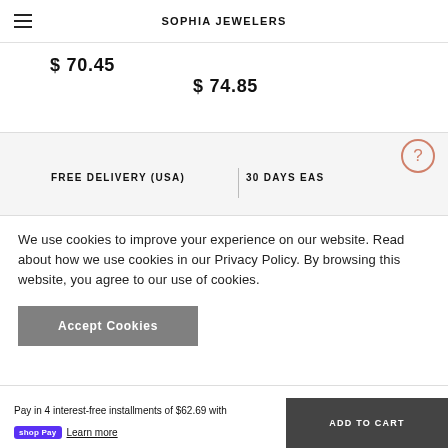SOPHIA JEWELERS
$ 70.45
$ 74.85
FREE DELIVERY (USA)
30 DAYS EAS
We use cookies to improve your experience on our website. Read about how we use cookies in our Privacy Policy. By browsing this website, you agree to our use of cookies.
Accept Cookies
Pay in 4 interest-free installments of $62.69 with
shop Pay  Learn more
ADD TO CART